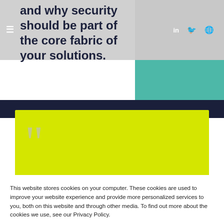and why security should be part of the core fabric of your solutions.
[Figure (screenshot): Website screenshot showing a cookie consent overlay on a page with a yellow quote card containing large quotation marks and partial text "I think we're", dark navy navigation band, teal right panel, social icons (LinkedIn, Twitter, Globe), and hamburger menu icon.]
This website stores cookies on your computer. These cookies are used to improve your website experience and provide more personalized services to you, both on this website and through other media. To find out more about the cookies we use, see our Privacy Policy.
We won't track your information when you visit our site. But in order to comply with your preferences, we'll have to use just one tiny cookie so that you're not asked to make this choice again.